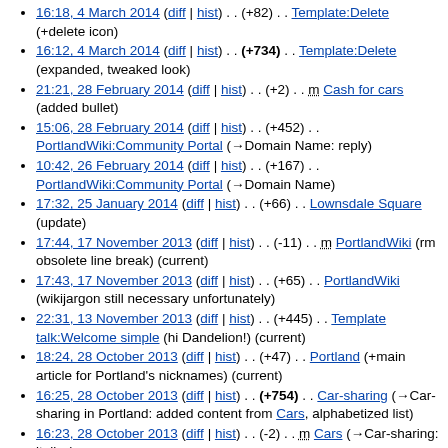16:18, 4 March 2014 (diff | hist) . . (+82) . . Template:Delete (+delete icon)
16:12, 4 March 2014 (diff | hist) . . (+734) . . Template:Delete (expanded, tweaked look)
21:21, 28 February 2014 (diff | hist) . . (+2) . . m Cash for cars (added bullet)
15:06, 28 February 2014 (diff | hist) . . (+452) . . PortlandWiki:Community Portal (→Domain Name: reply)
10:42, 26 February 2014 (diff | hist) . . (+167) . . PortlandWiki:Community Portal (→Domain Name)
17:32, 25 January 2014 (diff | hist) . . (+66) . . Lownsdale Square (update)
17:44, 17 November 2013 (diff | hist) . . (-11) . . m PortlandWiki (rm obsolete line break) (current)
17:43, 17 November 2013 (diff | hist) . . (+65) . . PortlandWiki (wikijargon still necessary unfortunately)
22:31, 13 November 2013 (diff | hist) . . (+445) . . Template talk:Welcome simple (hi Dandelion!) (current)
18:24, 28 October 2013 (diff | hist) . . (+47) . . Portland (+main article for Portland's nicknames) (current)
16:25, 28 October 2013 (diff | hist) . . (+754) . . Car-sharing (→Car-sharing in Portland: added content from Cars, alphabetized list)
16:23, 28 October 2013 (diff | hist) . . (-2) . . m Cars (→Car-sharing: italics)